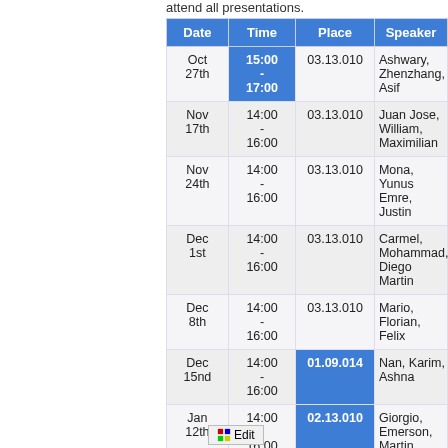attend all presentations.
| Date | Time | Place | Speaker | Ma… |
| --- | --- | --- | --- | --- |
| Oct 27th | 15:00 - 17:00 | 03.13.010 | Ashwary, Zhenzhang, Asif |  |
| Nov 17th | 14:00 - 16:00 | 03.13.010 | Juan Jose, William, Maximilian |  |
| Nov 24th | 14:00 - 16:00 | 03.13.010 | Mona, Yunus Emre, Justin |  |
| Dec 1st | 14:00 - 16:00 | 03.13.010 | Carmel, Mohammad, Diego Martin |  |
| Dec 8th | 14:00 - 16:00 | 03.13.010 | Mario, Florian, Felix |  |
| Dec 15nd | 14:00 - 16:00 | 01.09.014 | Nan, Karim, Ashna |  |
| Jan 12th | 14:00 - 16:00 | 02.13.010 | Giorgio, Emerson, Martin |  |